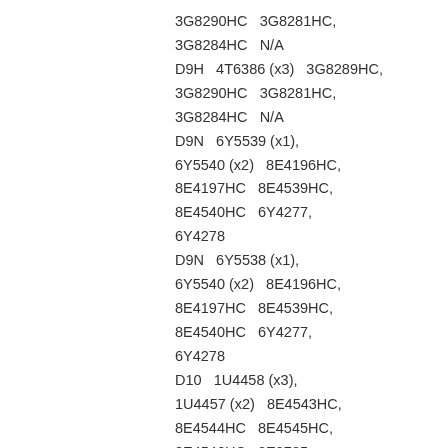3G8290HC   3G8281HC,
3G8284HC   N/A
D9H   4T6386 (x3)   3G8289HC,
3G8290HC   3G8281HC,
3G8284HC   N/A
D9N   6Y5539 (x1),
6Y5540 (x2)   8E4196HC,
8E4197HC   8E4539HC,
8E4540HC   6Y4277,
6Y4278
D9N   6Y5538 (x1),
6Y5540 (x2)   8E4196HC,
8E4197HC   8E4539HC,
8E4540HC   6Y4277,
6Y4278
D10   1U4458 (x3),
1U4457 (x2)   8E4543HC,
8E4544HC   8E4545HC,
8E4546HC   8E9785